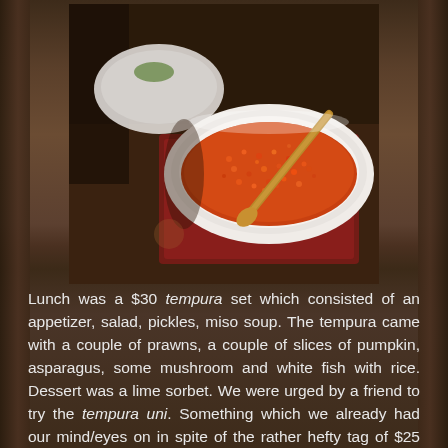[Figure (photo): A white ceramic oval dish filled with bright orange-red seasoning (togarashi spice mix) with a wooden spoon resting in it, sitting on what appears to be a dark lacquered tray. Another white dish is visible in the background.]
Lunch was a $30 tempura set which consisted of an appetizer, salad, pickles, miso soup. The tempura came with a couple of prawns, a couple of slices of pumpkin, asparagus, some mushroom and white fish with rice. Dessert was a lime sorbet. We were urged by a friend to try the tempura uni. Something which we already had our mind/eyes on in spite of the rather hefty tag of $25 for a single portion. We landed a counter seat so we could watch the preparation of the food, much like in a sushi bar. In this case at Tenshin we got to witness preparation of the batter for each batch of tempura that was about to be served